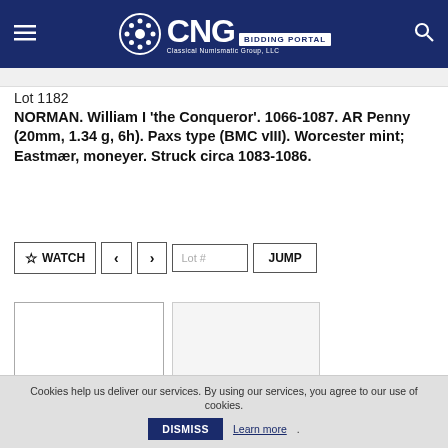CNG Classical Numismatic Group, LLC — BIDDING PORTAL
Lot 1182
NORMAN. William I 'the Conqueror'. 1066-1087. AR Penny (20mm, 1.34 g, 6h). Paxs type (BMC vIII). Worcester mint; Eastmær, moneyer. Struck circa 1083-1086.
[Figure (photo): Obverse of Norman silver penny, William I]
[Figure (photo): Reverse of Norman silver penny, William I]
SOLD $6,500
Est. $1,500
Cookies help us deliver our services. By using our services, you agree to our use of cookies. DISMISS Learn more.